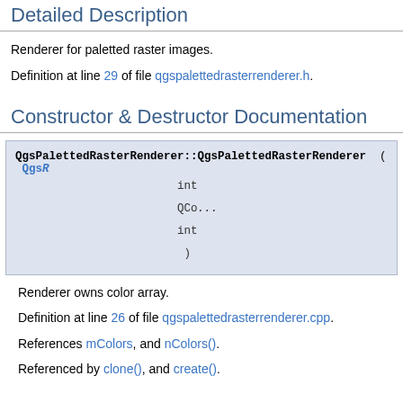Detailed Description
Renderer for paletted raster images.
Definition at line 29 of file qgspalettedrasterrenderer.h.
Constructor & Destructor Documentation
QgsPalettedRasterRenderer::QgsPalettedRasterRenderer ( QgsR... int QCo... int )
Renderer owns color array.
Definition at line 26 of file qgspalettedrasterrenderer.cpp.
References mColors, and nColors().
Referenced by clone(), and create().